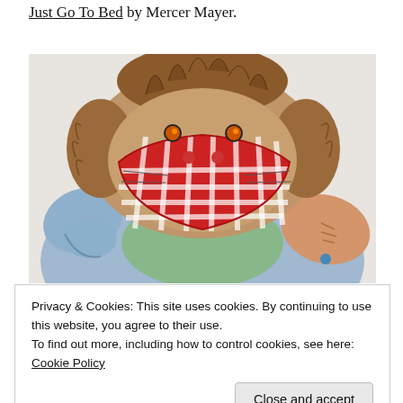Just Go To Bed by Mercer Mayer.
[Figure (illustration): Illustration of a cartoon animal character (Little Critter) with messy brown hair and orange eyes, wearing a red and white checkered bandana/shirt, from the children's book 'Just Go To Bed' by Mercer Mayer.]
Privacy & Cookies: This site uses cookies. By continuing to use this website, you agree to their use. To find out more, including how to control cookies, see here: Cookie Policy
Close and accept